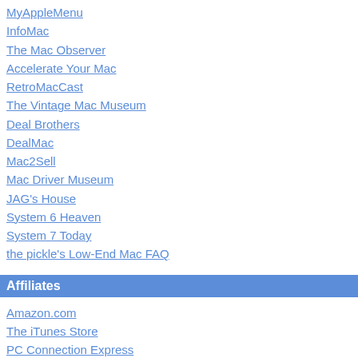MyAppleMenu
InfoMac
The Mac Observer
Accelerate Your Mac
RetroMacCast
The Vintage Mac Museum
Deal Brothers
DealMac
Mac2Sell
Mac Driver Museum
JAG's House
System 6 Heaven
System 7 Today
the pickle's Low-End Mac FAQ
Affiliates
Amazon.com
The iTunes Store
PC Connection Express
Macgo Blu-ray Player